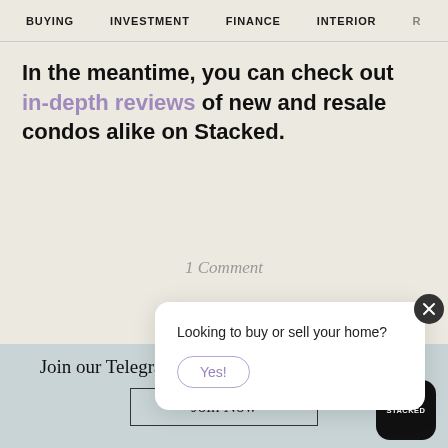BUYING   INVESTMENT   FINANCE   INTERIOR   R
In the meantime, you can check out in-depth reviews of new and resale condos alike on Stacked.
1 Comment
Looking to buy or sell your home?
Yes!
Join our Telegram group for instant notifications
Join Now